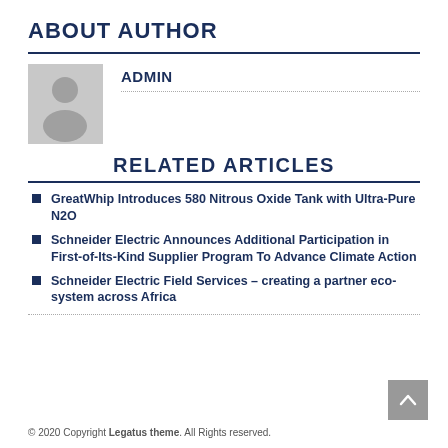ABOUT AUTHOR
[Figure (illustration): Gray placeholder avatar showing a person silhouette]
ADMIN
RELATED ARTICLES
GreatWhip Introduces 580 Nitrous Oxide Tank with Ultra-Pure N2O
Schneider Electric Announces Additional Participation in First-of-Its-Kind Supplier Program To Advance Climate Action
Schneider Electric Field Services – creating a partner eco-system across Africa
© 2020 Copyright Legatus theme. All Rights reserved.